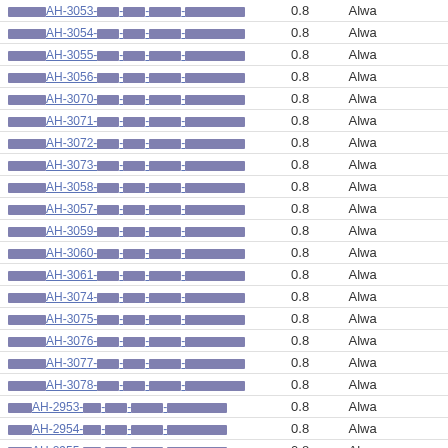| Link | Value | Status |
| --- | --- | --- |
| [redacted]AH-3053-[redacted]-[redacted]-[redacted]-[redacted] | 0.8 | Alwa |
| [redacted]AH-3054-[redacted]-[redacted]-[redacted]-[redacted] | 0.8 | Alwa |
| [redacted]AH-3055-[redacted]-[redacted]-[redacted]-[redacted] | 0.8 | Alwa |
| [redacted]AH-3056-[redacted]-[redacted]-[redacted]-[redacted] | 0.8 | Alwa |
| [redacted]AH-3070-[redacted]-[redacted]-[redacted]-[redacted] | 0.8 | Alwa |
| [redacted]AH-3071-[redacted]-[redacted]-[redacted]-[redacted] | 0.8 | Alwa |
| [redacted]AH-3072-[redacted]-[redacted]-[redacted]-[redacted] | 0.8 | Alwa |
| [redacted]AH-3073-[redacted]-[redacted]-[redacted]-[redacted] | 0.8 | Alwa |
| [redacted]AH-3058-[redacted]-[redacted]-[redacted]-[redacted] | 0.8 | Alwa |
| [redacted]AH-3057-[redacted]-[redacted]-[redacted]-[redacted] | 0.8 | Alwa |
| [redacted]AH-3059-[redacted]-[redacted]-[redacted]-[redacted] | 0.8 | Alwa |
| [redacted]AH-3060-[redacted]-[redacted]-[redacted]-[redacted] | 0.8 | Alwa |
| [redacted]AH-3061-[redacted]-[redacted]-[redacted]-[redacted] | 0.8 | Alwa |
| [redacted]AH-3074-[redacted]-[redacted]-[redacted]-[redacted] | 0.8 | Alwa |
| [redacted]AH-3075-[redacted]-[redacted]-[redacted]-[redacted] | 0.8 | Alwa |
| [redacted]AH-3076-[redacted]-[redacted]-[redacted]-[redacted] | 0.8 | Alwa |
| [redacted]AH-3077-[redacted]-[redacted]-[redacted]-[redacted] | 0.8 | Alwa |
| [redacted]AH-3078-[redacted]-[redacted]-[redacted]-[redacted] | 0.8 | Alwa |
| [redacted]AH-2953-[redacted]-[redacted]-[redacted]-[redacted] | 0.8 | Alwa |
| [redacted]AH-2954-[redacted]-[redacted]-[redacted]-[redacted] | 0.8 | Alwa |
| [redacted]AH-2955-[redacted]-[redacted]-[redacted]-[redacted] | 0.8 | Alwa |
| [redacted]AH-1178-[redacted]-[redacted]-[redacted]-[redacted] | 0.8 | Alwa |
| [redacted]AH-1179-[redacted]-[redacted]-[redacted]-[redacted] | 0.8 | Alwa |